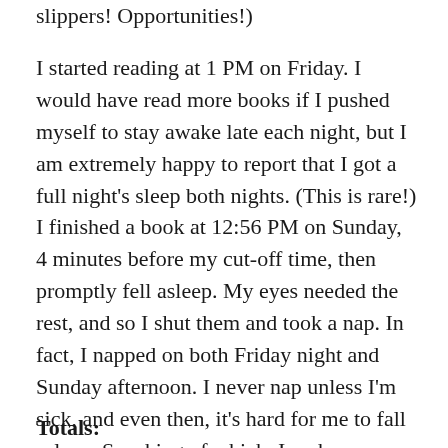slippers! Opportunities!)
I started reading at 1 PM on Friday. I would have read more books if I pushed myself to stay awake late each night, but I am extremely happy to report that I got a full night's sleep both nights. (This is rare!) I finished a book at 12:56 PM on Sunday, 4 minutes before my cut-off time, then promptly fell asleep. My eyes needed the rest, and so I shut them and took a nap. In fact, I napped on both Friday night and Sunday afternoon. I never nap unless I'm sick, and even then, it's hard for me to fall asleep. Speaking of which, I woke up around 3 AM on Saturday and forced myself to go back to sleep until it was a quarter to 7.
Totals: